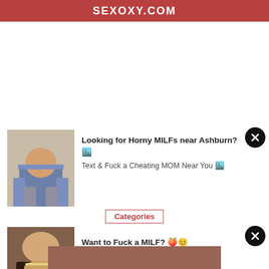SEXOXY.COM
[Figure (photo): Woman sitting in chair outdoors, casual clothing]
Looking for Horny MILFs near Ashburn? 🏙️
Text & Fuck a Cheating MOM Near You 🏙️
Categories
[Figure (photo): Woman in lingerie with pearl necklace]
Want to Fuck a MILF? 🍑😊
Horny MILFs in Ashburn 🏙️
[Figure (photo): Bottom strip showing partial image]